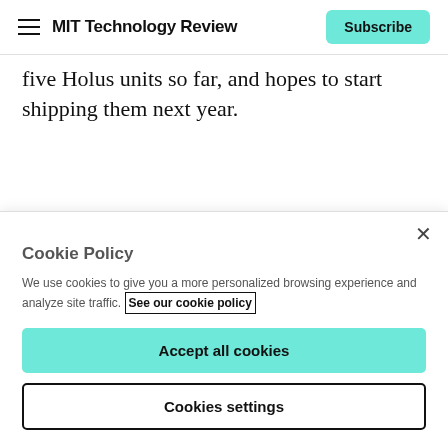MIT Technology Review | Subscribe
five Holus units so far, and hopes to start shipping them next year.
Advertisement
[Figure (other): Blue advertisement banner with text 'Explore the Global']
Cookie Policy
We use cookies to give you a more personalized browsing experience and analyze site traffic. See our cookie policy
Accept all cookies
Cookies settings